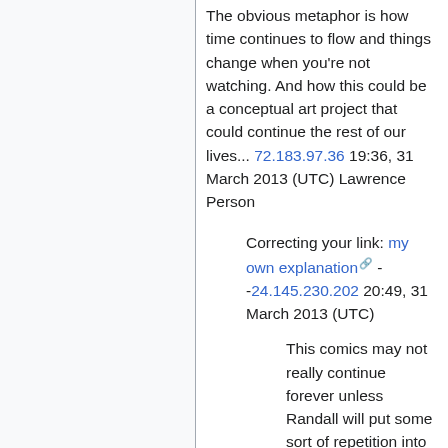The obvious metaphor is how time continues to flow and things change when you're not watching. And how this could be a conceptual art project that could continue the rest of our lives... 72.183.97.36 19:36, 31 March 2013 (UTC) Lawrence Person
Correcting your link: my own explanation -- 24.145.230.202 20:49, 31 March 2013 (UTC)
This comics may not really continue forever unless Randall will put some sort of repetition into it. May not be simple loop but something more sophisticated, but still, images shown up to now doesn't show any kind of